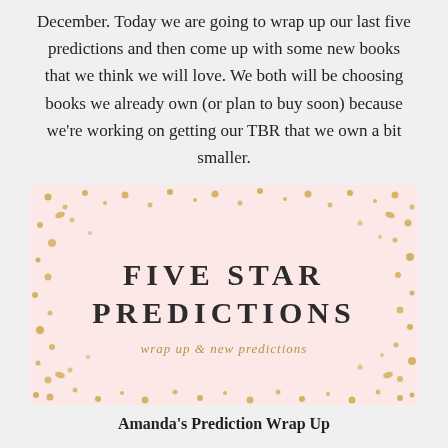December. Today we are going to wrap up our last five predictions and then come up with some new books that we think we will love. We both will be choosing books we already own (or plan to buy soon) because we're working on getting our TBR that we own a bit smaller.
[Figure (illustration): A decorative banner image with a light pink background and scattered gold confetti dots. Center text reads 'FIVE STAR PREDICTIONS' in large serif letters, with italic script underneath reading 'wrap up & new predictions'.]
Amanda's Prediction Wrap Up